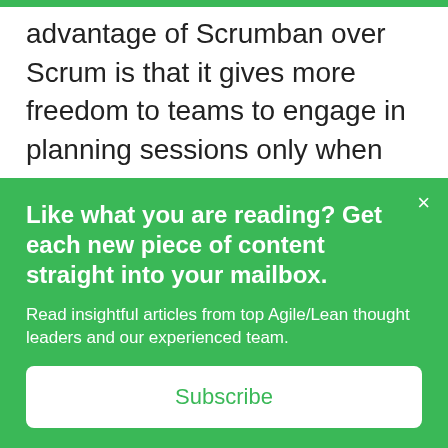advantage of Scrumban over Scrum is that it gives more freedom to teams to engage in planning sessions only when there is a need for them. This happens due to the introduction of continuous flow and “pull” ways of working. Furthermore, Scrumban looks to significantly reduce the time spent on Scrum estimations by introducing flow
Like what you are reading? Get each new piece of content straight into your mailbox.
Read insightful articles from top Agile/Lean thought leaders and our experienced team.
Subscribe